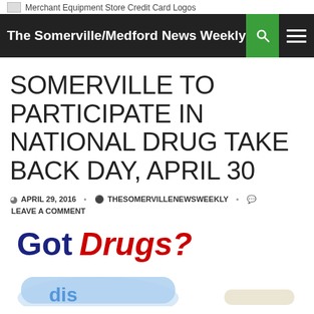Merchant Equipment Store Credit Card Logos
The Somerville/Medford News Weekly
SOMERVILLE TO PARTICIPATE IN NATIONAL DRUG TAKE BACK DAY, APRIL 30
APRIL 29, 2016  THESOMERVILLENEWSWEEKLY  LEAVE A COMMENT
[Figure (photo): Got Drugs? promotional image with pill bottles, text in dark blue and red]